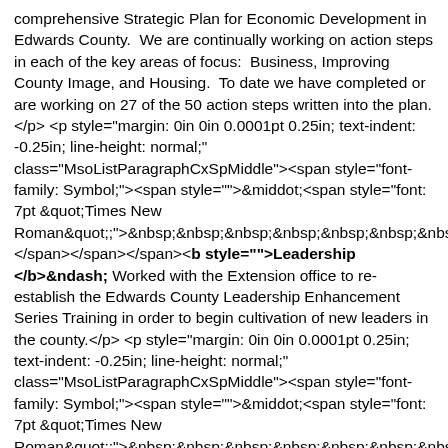comprehensive Strategic Plan for Economic Development in Edwards County.  We are continually working on action steps in each of the key areas of focus:  Business, Improving County Image, and Housing.  To date we have completed or are working on 27 of the 50 action steps written into the plan.</p> <p style="margin: 0in 0in 0.0001pt 0.25in; text-indent: -0.25in; line-height: normal;" class="MsoListParagraphCxSpMiddle"><span style="font-family: Symbol;"><span style="">&middot;<span style="font: 7pt &quot;Times New Roman&quot;;&">&nbsp;&nbsp;&nbsp;&nbsp;&nbsp;&nbsp;&nbsp;</span></span></span><b style="">Leadership </b>&ndash; Worked with the Extension office to re-establish the Edwards County Leadership Enhancement Series Training in order to begin cultivation of new leaders in the county.</p> <p style="margin: 0in 0in 0.0001pt 0.25in; text-indent: -0.25in; line-height: normal;" class="MsoListParagraphCxSpMiddle"><span style="font-family: Symbol;"><span style="">&middot;<span style="font: 7pt &quot;Times New Roman&quot;;&">&nbsp;&nbsp;&nbsp;&nbsp;&nbsp;&nbsp;&nbsp;</span></span></span><b style="">Established a Community Nonprofit<span style="">&nbsp; </span></b>- Since Economic Development has broadened their scope of work to include many charitable activities we need to establish ourselves as a 501(c)3